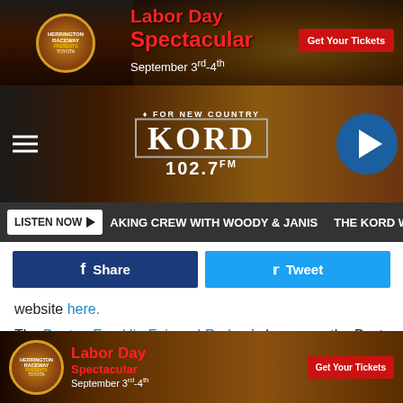[Figure (screenshot): Top banner advertisement for Haig/Herrington Raceway Labor Day Spectacular, September 3rd-4th, with Get Your Tickets button]
[Figure (logo): KORD 102.7 FM radio station navigation bar with hamburger menu, KORD logo, and play button]
[Figure (screenshot): Listen Now button bar with scrolling text: AKING CREW WITH WOODY & JANIS and THE KORD W.]
[Figure (screenshot): Facebook Share and Twitter Tweet social sharing buttons]
website here.
The Benton Franklin Fair and Rodeo is known as the Best Week of Summer. According to the Fair's Facebook page, they're:
now accepting video submissions and applications from potential National Anthem singers for this
[Figure (screenshot): Bottom banner advertisement for Herrington Raceway Labor Day Spectacular, September 3rd-4th, with Get Your Tickets button]